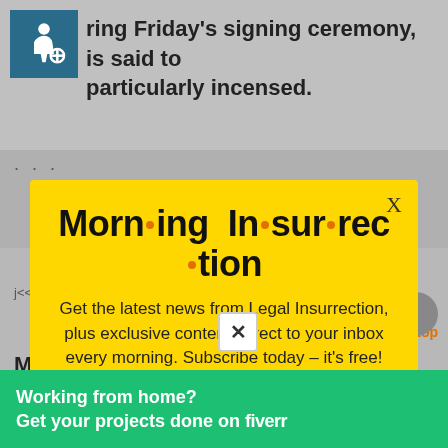ring Friday's signing ceremony, is said to particularly incensed.
[Figure (screenshot): Yellow modal popup overlay for Morning Insurrection newsletter subscription with JOIN NOW button]
[Figure (infographic): Fiverr advertisement banner: Working from home? Get your projects done on fiverr]
Republican committee chairman and party